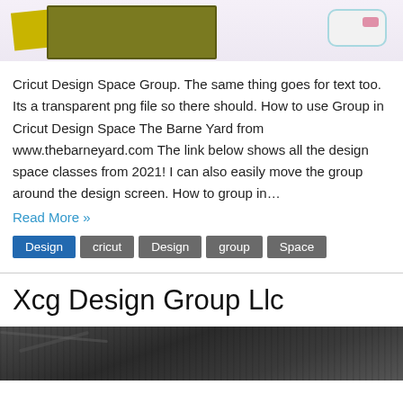[Figure (photo): Photo showing crafting supplies on a light purple background: a yellow sheet, an olive-green cutting mat, and a white device with teal trim]
Cricut Design Space Group. The same thing goes for text too. Its a transparent png file so there should. How to use Group in Cricut Design Space The Barne Yard from www.thebarneyard.com The link below shows all the design space classes from 2021! I can also easily move the group around the design screen. How to group in…
Read More »
Design
cricut
Design
group
Space
Xcg Design Group Llc
[Figure (photo): Close-up photo of dark fabric or textile material, showing texture and folds]